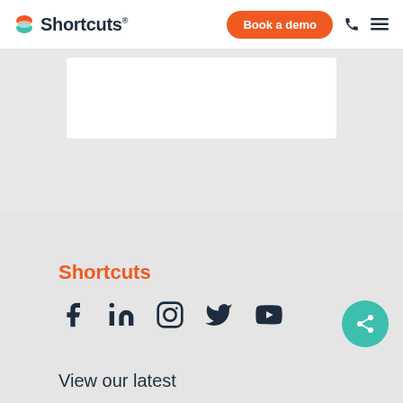[Figure (logo): Shortcuts logo with colored S icon and wordmark, Book a demo orange button, phone icon, hamburger menu icon in navigation bar]
[Figure (screenshot): White card/panel partially visible on grey hero background]
Shortcuts
[Figure (infographic): Social media icons row: Facebook, LinkedIn, Instagram, Twitter, YouTube; teal share button on right]
View our latest